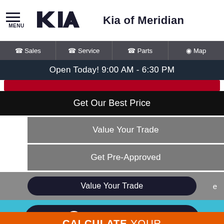[Figure (logo): Kia dealership header with hamburger menu, Kia logo, and dealer name 'Kia of Meridian']
Sales | Service | Parts | Map
Open Today! 9:00 AM - 6:30 PM
Get Our Best Price
Value Your Trade
Get Pre-Approved
Value Your Trade
Explore Payments
CALCULATE YOUR